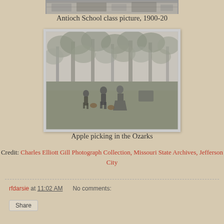[Figure (photo): Partial view of Antioch School class picture, 1900-20 (top stub visible)]
Antioch School class picture, 1900-20
[Figure (photo): Black and white photograph of apple picking in the Ozarks, showing people among trees in a field]
Apple picking in the Ozarks
Credit: Charles Elliott Gill Photograph Collection, Missouri State Archives, Jefferson City
rfdarsie at 11:02 AM    No comments:
Share